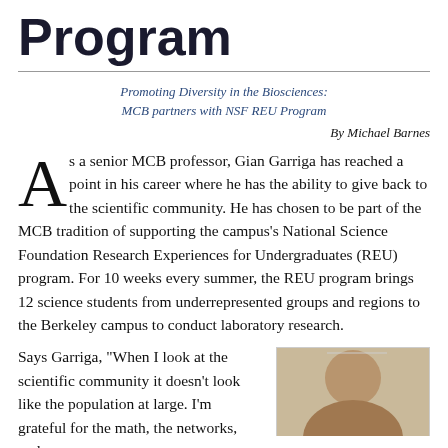Program
Promoting Diversity in the Biosciences:
MCB partners with NSF REU Program
By Michael Barnes
As a senior MCB professor, Gian Garriga has reached a point in his career where he has the ability to give back to the scientific community. He has chosen to be part of the MCB tradition of supporting the campus's National Science Foundation Research Experiences for Undergraduates (REU) program. For 10 weeks every summer, the REU program brings 12 science students from underrepresented groups and regions to the Berkeley campus to conduct laboratory research.
Says Garriga, “When I look at the scientific community it doesn’t look like the population at large. I’m grateful for the math, the networks, and
[Figure (photo): Portrait photo of a person, partially visible at bottom right of the page]